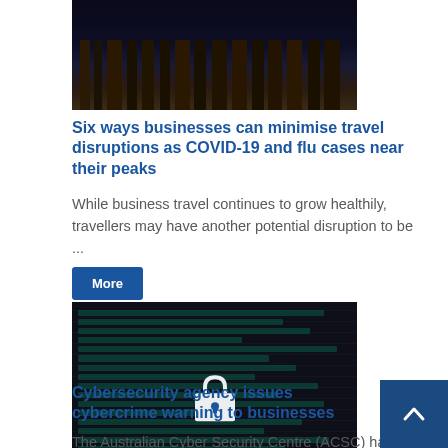[Figure (photo): Night cityscape with illuminated skyscrapers]
Six ways businesses can minimise travel disruptions as COVID-19 and flu cases near their peaks
While business travel continues to grow healthily, travellers may have another potential disruption to be ...
More
[Figure (photo): Dark background with code text and a padlock icon representing cybersecurity]
Cybersecurity agency issues cybercrime warning to businesses
The Australian Cyber Security Centre (ACSC) has